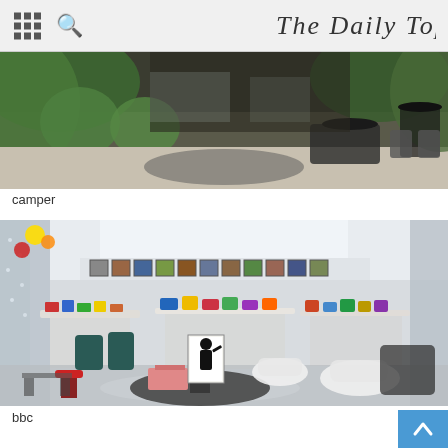The Daily Top
[Figure (photo): Outdoor patio/terrace of a restaurant or cafe called Camper, with potted plants, grey stone floor, dark metal furniture including chairs and round tables]
camper
[Figure (photo): Interior of a colorful design shop called bbc, with bright merchandise, display tables, colorful hanging items, open floor plan, and a prominent round table in the foreground with a black-and-white framed artwork]
bbc